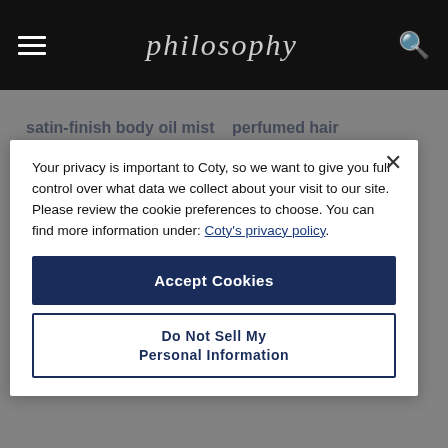philosophy
satin-finish body oil mist
AMAZING GRACE
C$ 34.00
perfumed hair conditioner
AMAZING GRACE 20TH BIRTHDAY
N/A
Your privacy is important to Coty, so we want to give you full control over what data we collect about your visit to our site. Please review the cookie preferences to choose. You can find more information under: Coty's privacy policy.
Accept Cookies
Do Not Sell My Personal Information